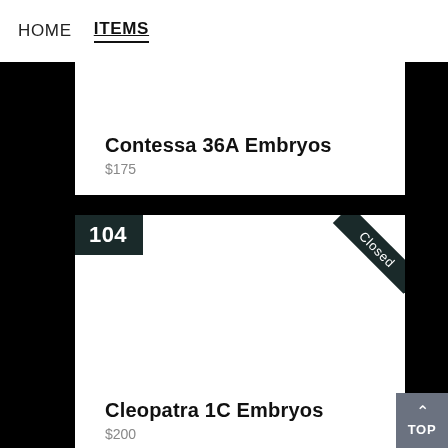HOME   ITEMS
Contessa 36A Embryos
$175
104
Closed
Cleopatra 1C Embryos
$200